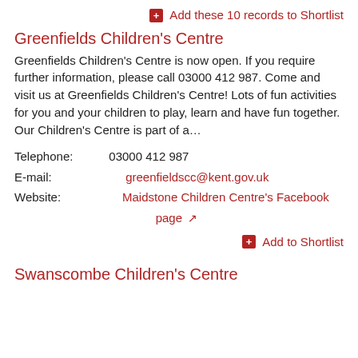+ Add these 10 records to Shortlist
Greenfields Children's Centre
Greenfields Children's Centre is now open. If you require further information, please call 03000 412 987. Come and visit us at Greenfields Children's Centre! Lots of fun activities for you and your children to play, learn and have fun together. Our Children's Centre is part of a…
Telephone:  03000 412 987
E-mail:  greenfieldscc@kent.gov.uk
Website:  Maidstone Children Centre's Facebook page
+ Add to Shortlist
Swanscombe Children's Centre